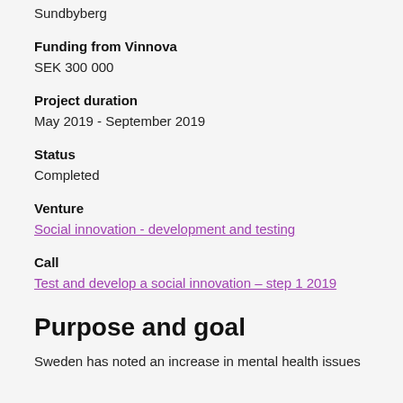Sundbyberg
Funding from Vinnova
SEK 300 000
Project duration
May 2019 - September 2019
Status
Completed
Venture
Social innovation - development and testing
Call
Test and develop a social innovation – step 1 2019
Purpose and goal
Sweden has noted an increase in mental health issues